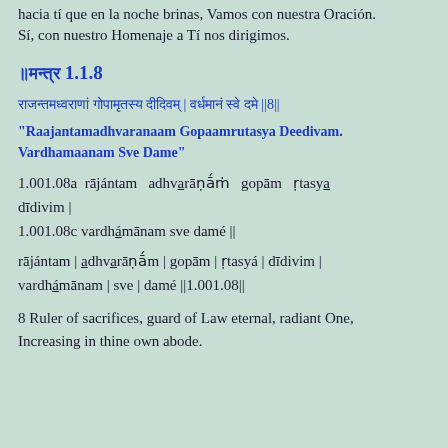hacia tí que en la noche brinas, Vamos con nuestra Oración.
Sí, con nuestro Homenaje a Tí nos dirigimos.
॥ मन्त्र 1.1.8
राजन्तमध्वराणां गोपामृतस्य दीदिवम् | वर्धमानं स्वे दमे ||8||
"Raajantamadhvaranaam Gopaamrutasya Deedivam. Vardhamaanam Sve Dame"
1.001.08a rājántam adhvaṛāṇā́ṁ gopām ṛtasyá dīdivim |
1.001.08c vardhámānam sve damé ||
rājántam | adhvaṛāṇā́m | gopām | ṛtasyá | dīdivim | vardhámānam | sve | damé ||1.001.08||
8 Ruler of sacrifices, guard of Law eternal, radiant One,
Increasing in thine own abode.